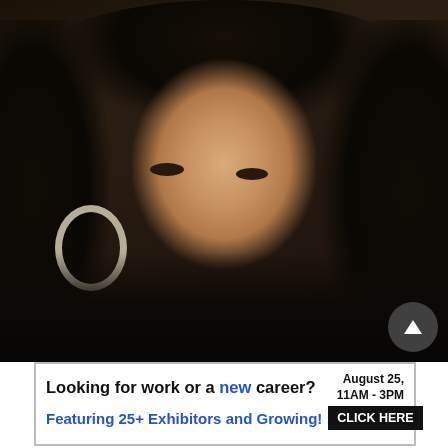[Figure (photo): Close-up portrait photo of a young woman with dark curly hair and large silver hoop earrings, wearing a dark top, looking at the camera with a slight smile]
Looking for work or a new career? August 25, 11AM - 3PM Featuring 25+ Exhibitors and Growing! CLICK HERE